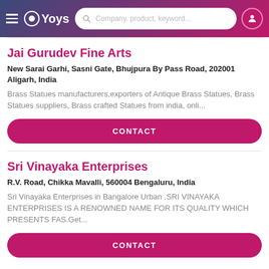Yoys — Company, product, keyword...
Jai Gurudev Fine Arts
New Sarai Garhi, Sasni Gate, Bhujpura By Pass Road, 202001 Aligarh, India
Brass Statues manufacturers,exporters of Antique Brass Statues, Brass Statues suppliers, Brass crafted Statues from india, onli...
CONTACT
Sri Vinayaka Enterprises
R.V. Road, Chikka Mavalli, 560004 Bengaluru, India
Sri Vinayaka Enterprises in Bangalore Urban ,SRI VINAYAKA ENTERPRISES IS A RENOWNED NAME FOR ITS QUALITY WHICH PRESENTS FAS.Get...
CONTACT